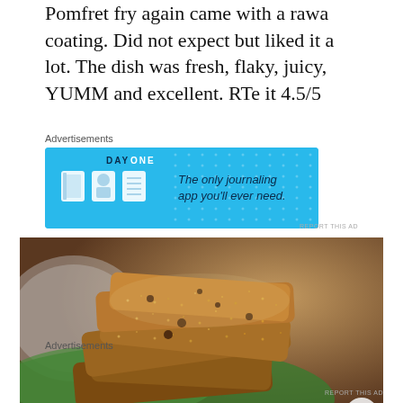Pomfret fry again came with a rawa coating. Did not expect but liked it a lot. The dish was fresh, flaky, juicy, YUMM and excellent. RTe it 4.5/5
Advertisements
[Figure (screenshot): DayOne journaling app advertisement banner with blue background, app icons, and text 'The only journaling app you'll ever need.']
REPORT THIS AD
[Figure (photo): Close-up photo of fried pomfret fish with rawa (semolina) coating served on a banana leaf in a metal plate, dark and golden brown crust visible]
Advertisements
REPORT THIS AD